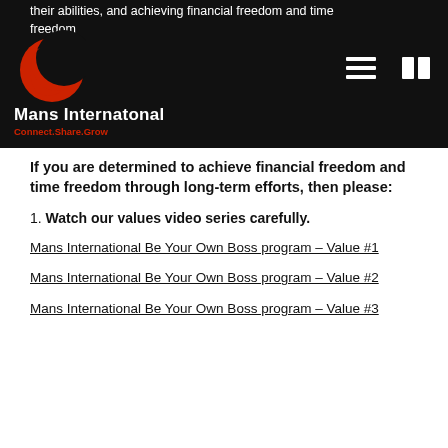Mans Internatonal – Connect.Share.Grow
their abilities, and achieving financial freedom and time freedom
If you are determined to achieve financial freedom and time freedom through long-term efforts, then please:
1. Watch our values video series carefully.
Mans International Be Your Own Boss program – Value #1
Mans International Be Your Own Boss program – Value #2
Mans International Be Your Own Boss program – Value #3